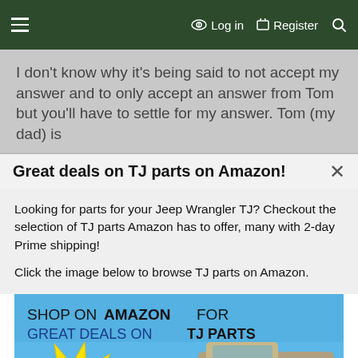≡  Log in  Register  🔍
I don't know why it's being said to not accept my answer and to only accept an answer from Tom but you'll have to settle for my answer. Tom (my dad) is
Great deals on TJ parts on Amazon!
Looking for parts for your Jeep Wrangler TJ? Checkout the selection of TJ parts Amazon has to offer, many with 2-day Prime shipping!
Click the image below to browse TJ parts on Amazon.
[Figure (illustration): Advertisement banner: 'SHOP ON AMAZON FOR GREAT DEALS ON TJ PARTS' with a Jeep Wrangler TJ graphic and a yellow starburst saying 'CLICK HERE TO SHOP ON AMAZON']